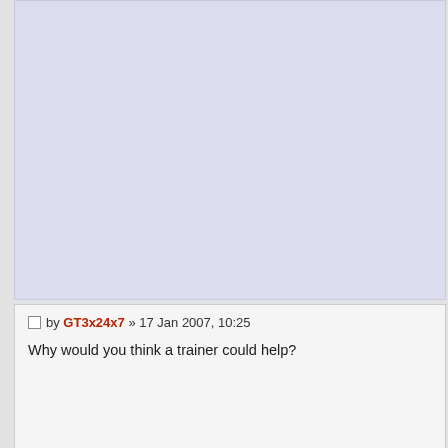[top post block — content above viewport]
by GT3x24x7 » 17 Jan 2007, 10:25
Why would you think a trainer could help?
crashing ruining game
by bala8oo » 18 Jan 2007, 03:15
I bought the PC version for the extra cars (Collectors Edition) after playing Trouble is it crashes frequently at any time sometimes more often than oth